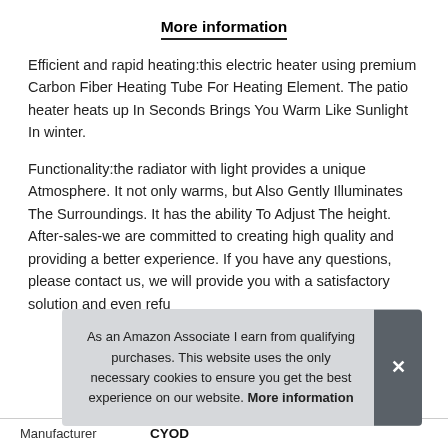More information
Efficient and rapid heating:this electric heater using premium Carbon Fiber Heating Tube For Heating Element. The patio heater heats up In Seconds Brings You Warm Like Sunlight In winter.
Functionality:the radiator with light provides a unique Atmosphere. It not only warms, but Also Gently Illuminates The Surroundings. It has the ability To Adjust The height. After-sales-we are committed to creating high quality and providing a better experience. If you have any questions, please contact us, we will provide you with a satisfactory solution and even refu
As an Amazon Associate I earn from qualifying purchases. This website uses the only necessary cookies to ensure you get the best experience on our website. More information
| Manufacturer |  |
| --- | --- |
| Manufacturer | CYOD |